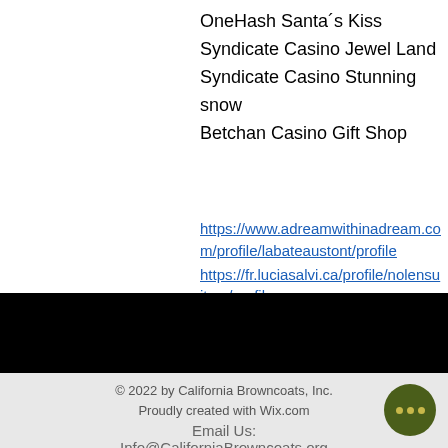OneHash Santa´s Kiss
Syndicate Casino Jewel Land
Syndicate Casino Stunning snow
Betchan Casino Gift Shop
https://www.adreamwithinadream.com/profile/labateaustont/profile
https://fr.luciasalvi.ca/profile/nolensuiterx/profile
https://www.getduncan.com/profile/bothtudmanm/profile
https://www.dirteedopedealers.com/profile/hallastiendac/profile
© 2022 by California Browncoats, Inc. Proudly created with Wix.com
Email Us:
Info@CaliforniaBrowncoats.org